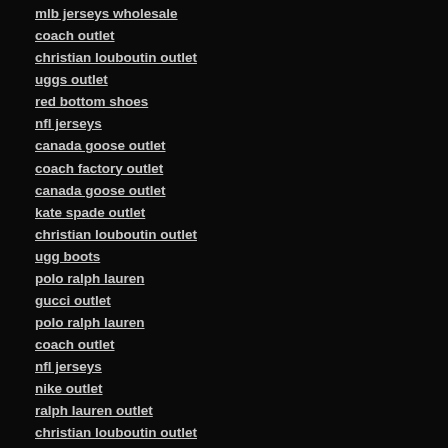mlb jerseys wholesale
coach outlet
christian louboutin outlet
uggs outlet
red bottom shoes
nfl jerseys
canada goose outlet
coach factory outlet
canada goose outlet
kate spade outlet
christian louboutin outlet
ugg boots
polo ralph lauren
gucci outlet
polo ralph lauren
coach outlet
nfl jerseys
nike outlet
ralph lauren outlet
christian louboutin outlet
pandora charms
cheap jerseys
cheap nfl jerseys
ray ban outlet
christian louboutin outlet
pandora charms
phl jerseys